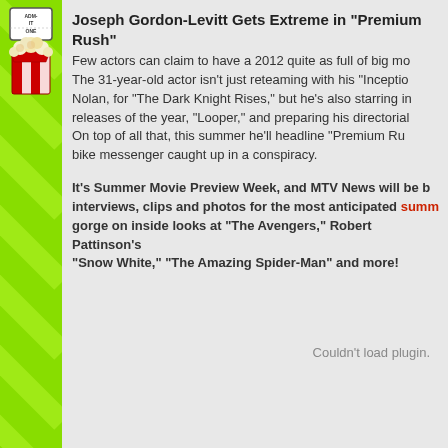[Figure (illustration): Green striped sidebar with movie ticket stub and popcorn illustration on the left side of the page]
Joseph Gordon-Levitt Gets Extreme in "Premium Rush"
Few actors can claim to have a 2012 quite as full of big mo... The 31-year-old actor isn't just reteaming with his "Inceptio... Nolan, for "The Dark Knight Rises," but he's also starring in... releases of the year, "Looper," and preparing his directorial... On top of all that, this summer he'll headline "Premium Ru... bike messenger caught up in a conspiracy.
It's Summer Movie Preview Week, and MTV News will be b... interviews, clips and photos for the most anticipated summ... gorge on inside looks at "The Avengers," Robert Pattinson's... "Snow White," "The Amazing Spider-Man" and more!
Couldn't load plugin.